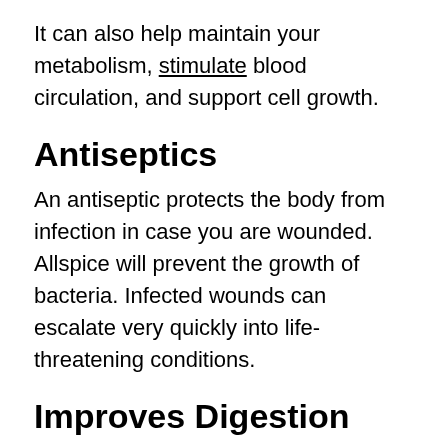It can also help maintain your metabolism, stimulate blood circulation, and support cell growth.
Antiseptics
An antiseptic protects the body from infection in case you are wounded. Allspice will prevent the growth of bacteria. Infected wounds can escalate very quickly into life-threatening conditions.
Improves Digestion
Intestinal gas can be painful and